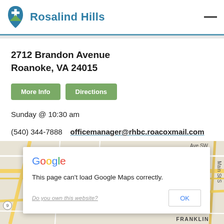Rosalind Hills
2712 Brandon Avenue
Roanoke, VA 24015
More Info
Directions
Sunday @ 10:30 am
(540) 344-7888    officemanager@rhbc.roacoxmail.com
[Figure (screenshot): Google Maps embed showing a map of the Roanoke, VA area with a Google dialog box overlay stating 'This page can't load Google Maps correctly.' with a 'Do you own this website?' link and an OK button.]